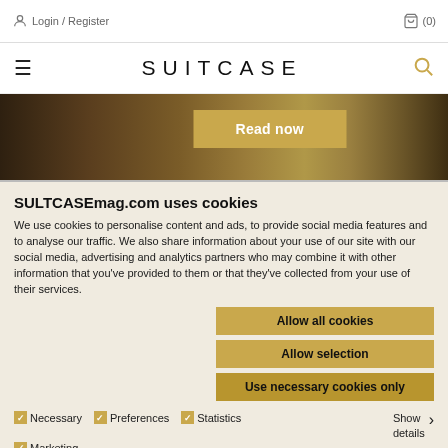Login / Register  (0)
[Figure (screenshot): SUITCASE magazine website header with hamburger menu, SUITCASE logo, and search icon]
[Figure (photo): Hero image strip showing a savanna landscape with a golden 'Read now' button overlay]
SULTCASEmag.com uses cookies
We use cookies to personalise content and ads, to provide social media features and to analyse our traffic. We also share information about your use of our site with our social media, advertising and analytics partners who may combine it with other information that you've provided to them or that they've collected from your use of their services.
Allow all cookies
Allow selection
Use necessary cookies only
Necessary  Preferences  Statistics  Marketing  Show details